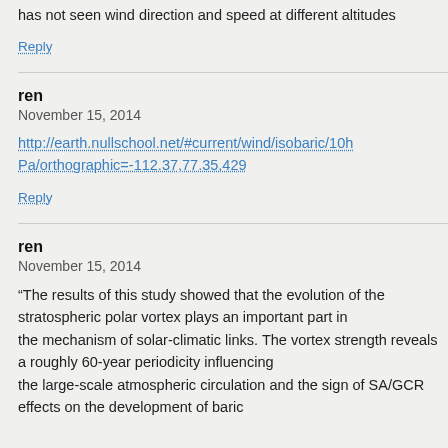has not seen wind direction and speed at different altitudes
Reply
ren
November 15, 2014
http://earth.nullschool.net/#current/wind/isobaric/10hPa/orthographic=-112.37,77.35,429
Reply
ren
November 15, 2014
“The results of this study showed that the evolution of the stratospheric polar vortex plays an important part in the mechanism of solar-climatic links. The vortex strength reveals a roughly 60-year periodicity influencing the large-scale atmospheric circulation and the sign of SA/GCR effects on the development of baric